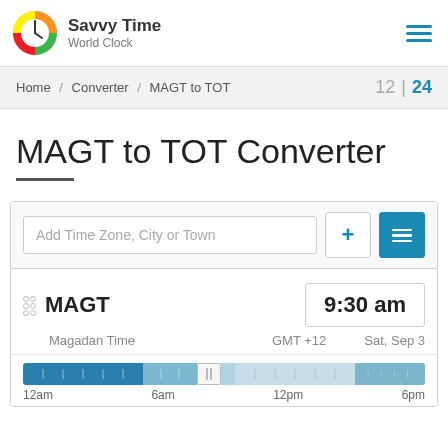Savvy Time World Clock
Home / Converter / MAGT to TOT  12 | 24
MAGT to TOT Converter
Add Time Zone, City or Town
MAGT  9:30 am  Magadan Time  GMT +12  Sat, Sep 3
[Figure (other): Time slider bar showing 12am, 6am, 12pm, 6pm with a handle positioned near 9:30am]